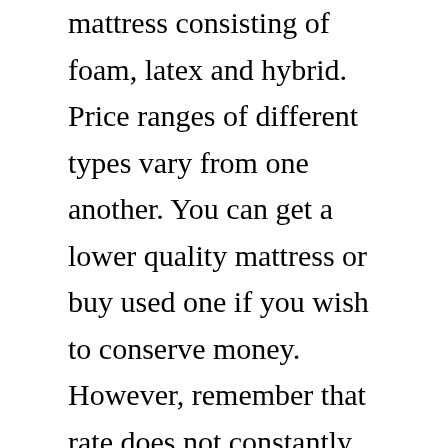mattress consisting of foam, latex and hybrid. Price ranges of different types vary from one another. You can get a lower quality mattress or buy used one if you wish to conserve money. However, remember that rate does not constantly equal quality. You must check reviews before you buy a mattress.
The kind of product used in a bed mattress determines its cost. Natural products are typically more costly than artificial ones. Another factor that impacts expense is the density of the foam. A high-density foam bed mattress will generally cost more than a